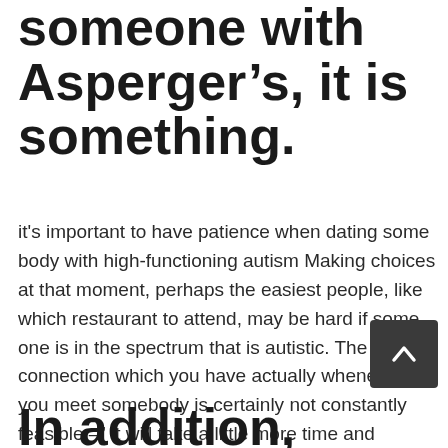someone with Asperger's, it is something.
it's important to have patience when dating some body with high-functioning autism Making choices at that moment, perhaps the easiest people, like which restaurant to attend, may be hard if some one is in the spectrum that is autistic. The normal connection which you have actually whenever you meet somebody is certainly not constantly feasible вЂ" it will take a little more time and energy to open and stay comfortable about any of it. Some individuals with autism usage one glass of wine to unwind a night out together happens in a club, while other people choose to keep interaction on the web for longer.
In addition, some